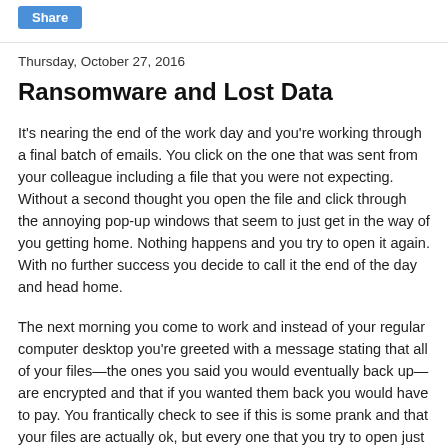Share
Thursday, October 27, 2016
Ransomware and Lost Data
It's nearing the end of the work day and you're working through a final batch of emails. You click on the one that was sent from your colleague including a file that you were not expecting. Without a second thought you open the file and click through the annoying pop-up windows that seem to just get in the way of you getting home. Nothing happens and you try to open it again. With no further success you decide to call it the end of the day and head home.
The next morning you come to work and instead of your regular computer desktop you're greeted with a message stating that all of your files—the ones you said you would eventually back up—are encrypted and that if you wanted them back you would have to pay. You frantically check to see if this is some prank and that your files are actually ok, but every one that you try to open just won't open. You